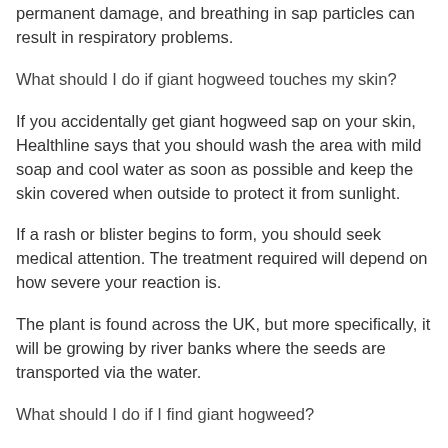permanent damage, and breathing in sap particles can result in respiratory problems.
What should I do if giant hogweed touches my skin?
If you accidentally get giant hogweed sap on your skin, Healthline says that you should wash the area with mild soap and cool water as soon as possible and keep the skin covered when outside to protect it from sunlight.
If a rash or blister begins to form, you should seek medical attention. The treatment required will depend on how severe your reaction is.
The plant is found across the UK, but more specifically, it will be growing by river banks where the seeds are transported via the water.
What should I do if I find giant hogweed?